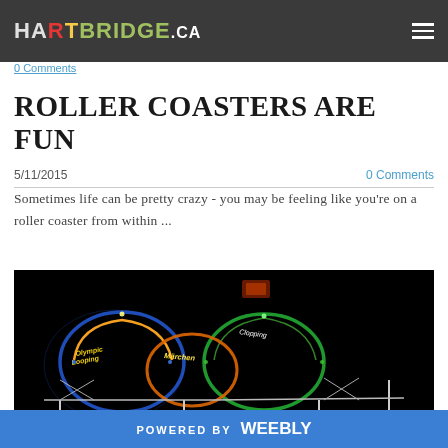HARTBRIDGE.ca
0 Comments
ROLLER COASTERS ARE FUN
5/11/2015   0 Comments
Sometimes life can be pretty crazy - you may be feeling like you're on a roller coaster from within ...
[Figure (photo): Night photo of illuminated roller coaster loops with colorful neon lights against a black sky, showing signs reading Olympic Looping, Marchen, and Clopping]
POWERED BY weebly